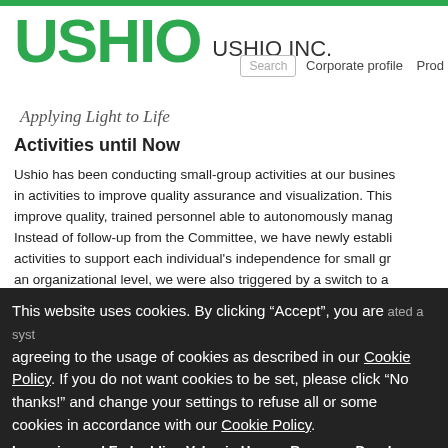[Figure (logo): USHIO logo in green with USHIO INC. text and 'Applying Light to Life' tagline]
Corporate profile  Prod  Search
Activities until Now
Ushio has been conducting small-group activities at our business in activities to improve quality assurance and visualization. This improve quality, trained personnel able to autonomously manage. Instead of follow-up from the Committee, we have newly established activities to support each individual's independence for small group an organizational level, we were also triggered by a switch to a created a system.
This website uses cookies. By clicking “Accept”, you are agreeing to the usage of cookies as described in our Cookie Policy. If you do not want cookies to be set, please click “No thanks!” and change your settings to refuse all or some cookies in accordance with our Cookie Policy.
Improving and Embedding Value in Human Resource Development
With regard to human resource development, we believe that “i workers.” We are training supporters to encourage employment, embedded in re-employment, increasing techniques.
Going forward, through the continuous, standpoint accumulation